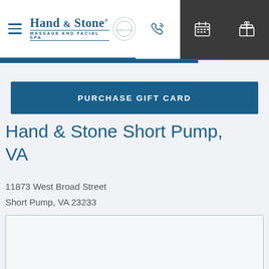[Figure (logo): Hand & Stone Massage and Facial Spa logo with circular emblem]
PURCHASE GIFT CARD
Hand & Stone Short Pump, VA
11873 West Broad Street
Short Pump, VA 23233
[Figure (screenshot): White form/content box with light border]